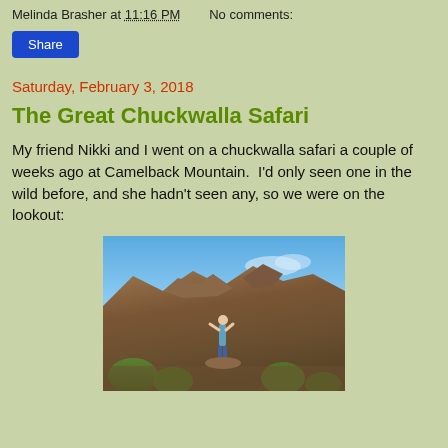Melinda Brasher at 11:16 PM   No comments:
Share
Saturday, February 3, 2018
The Great Chuckwalla Safari
My friend Nikki and I went on a chuckwalla safari a couple of weeks ago at Camelback Mountain.  I'd only seen one in the wild before, and she hadn't seen any, so we were on the lookout:
[Figure (photo): A person standing on rocky terrain at Camelback Mountain, shielding their eyes while looking out, with blue sky and rocky outcroppings in the background and desert vegetation below.]